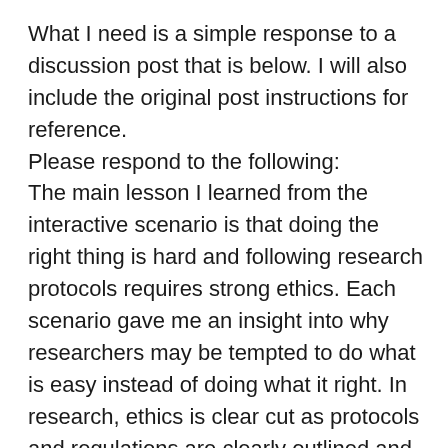What I need is a simple response to a discussion post that is below. I will also include the original post instructions for reference.
Please respond to the following:
The main lesson I learned from the interactive scenario is that doing the right thing is hard and following research protocols requires strong ethics. Each scenario gave me an insight into why researchers may be tempted to do what is easy instead of doing what it right. In research, ethics is clear cut as protocols and regulations are clearly outlined and all protocols have to be followed or the study is invalid. Some researchers may try to justify breaking protocols by creating gray areas. In all of the scenarios the researchers all